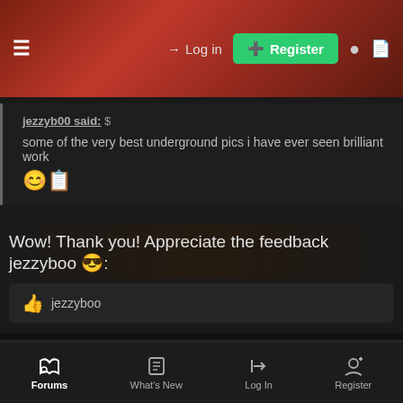Log in  Register
jezzyb00 said: ↑
some of the very best underground pics i have ever seen brilliant work 😊👍
Wow! Thank you! Appreciate the feedback jezzyboo 😎:
👍 jezzyboo
m4dd13z666
Miss TQ 🎵  28DL Full Member
Jul 14, 2021   #4
Forums  What's New  Log In  Register